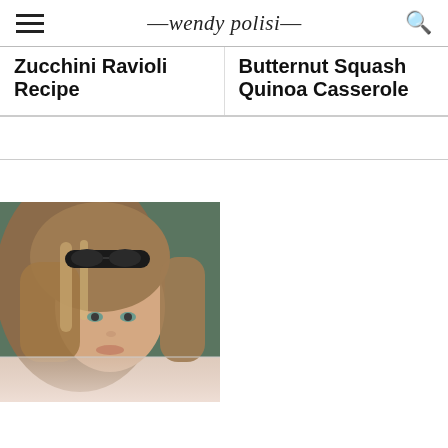wendy polisi
Zucchini Ravioli Recipe
Butternut Squash Quinoa Casserole
[Figure (photo): Close-up photo of a woman with blonde hair and sunglasses on her head, looking at the camera, with a blurred dark background. The lower portion shows a reflection or mirrored fade of the image.]